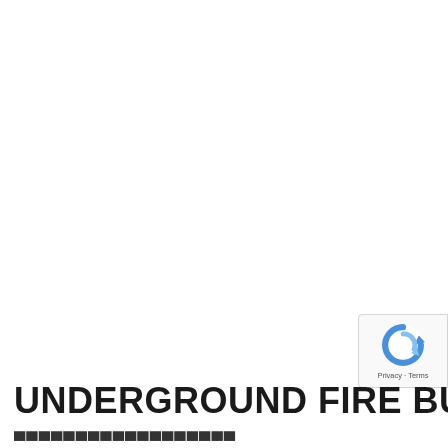UNDERGROUND FIRE BURNS I...
[Figure (other): reCAPTCHA badge/widget in bottom right corner showing the Google reCAPTCHA logo (blue circular arrows) and 'Privacy - Terms' text]